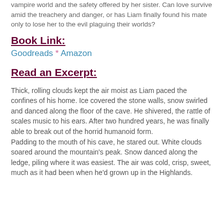vampire world and the safety offered by her sister. Can love survive amid the treachery and danger, or has Liam finally found his mate only to lose her to the evil plaguing their worlds?
Book Link:
Goodreads * Amazon
Read an Excerpt:
Thick, rolling clouds kept the air moist as Liam paced the confines of his home. Ice covered the stone walls, snow swirled and danced along the floor of the cave. He shivered, the rattle of scales music to his ears. After two hundred years, he was finally able to break out of the horrid humanoid form.
Padding to the mouth of his cave, he stared out. White clouds soared around the mountain's peak. Snow danced along the ledge, piling where it was easiest. The air was cold, crisp, sweet, much as it had been when he'd grown up in the Highlands.